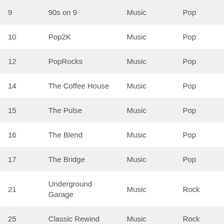| 9 | 90s on 9 | Music | Pop |
| 10 | Pop2K | Music | Pop |
| 12 | PopRocks | Music | Pop |
| 14 | The Coffee House | Music | Pop |
| 15 | The Pulse | Music | Pop |
| 16 | The Blend | Music | Pop |
| 17 | The Bridge | Music | Pop |
| 21 | Underground Garage | Music | Rock |
| 25 | Classic Rewind | Music | Rock |